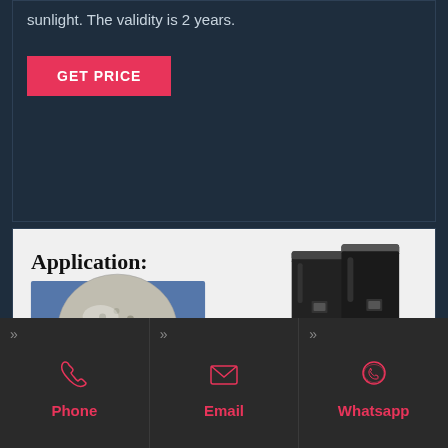sunlight. The validity is 2 years.
GET PRICE
[Figure (photo): Application image showing PVC granules/pellets (material) with a red arrow pointing to black rubber rain boots, labeled 'Application:']
Phone
Email
Whatsapp